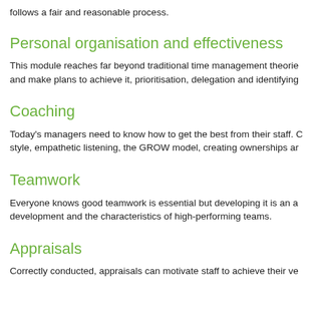follows a fair and reasonable process.
Personal organisation and effectiveness
This module reaches far beyond traditional time management theories and make plans to achieve it, prioritisation, delegation and identifying
Coaching
Today's managers need to know how to get the best from their staff. C style, empathetic listening, the GROW model, creating ownerships ar
Teamwork
Everyone knows good teamwork is essential but developing it is an a development and the characteristics of high-performing teams.
Appraisals
Correctly conducted, appraisals can motivate staff to achieve their ve